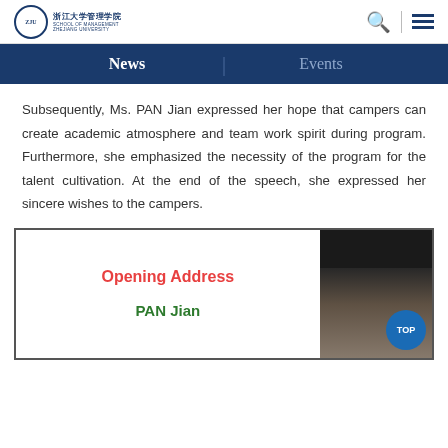Zhejiang University School of Management
News | Events
Subsequently, Ms. PAN Jian expressed her hope that campers can create academic atmosphere and team work spirit during program. Furthermore, she emphasized the necessity of the program for the talent cultivation. At the end of the speech, she expressed her sincere wishes to the campers.
[Figure (screenshot): Screenshot of a presentation slide showing 'Opening Address' in red and 'PAN Jian' in green, with a video feed of a person on the right side and a blue 'TOP' button overlay.]